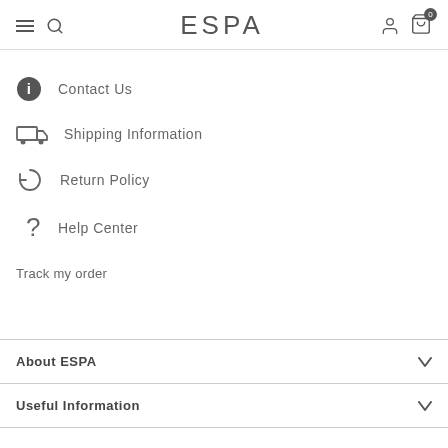ESPA
Contact Us
Shipping Information
Return Policy
Help Center
Track my order
About ESPA
Useful Information